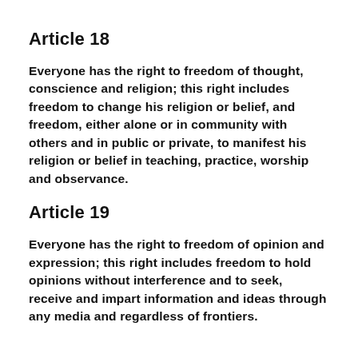Article 18
Everyone has the right to freedom of thought, conscience and religion; this right includes freedom to change his religion or belief, and freedom, either alone or in community with others and in public or private, to manifest his religion or belief in teaching, practice, worship and observance.
Article 19
Everyone has the right to freedom of opinion and expression; this right includes freedom to hold opinions without interference and to seek, receive and impart information and ideas through any media and regardless of frontiers.